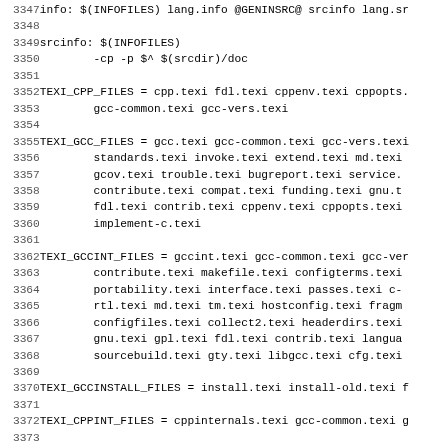Code listing lines 3347-3378: Makefile snippet defining TEXI_CPP_FILES, TEXI_GCC_FILES, TEXI_GCCINT_FILES, TEXI_GCCINSTALL_FILES, TEXI_CPPINT_FILES variables and gcc-vers.texi build rules.